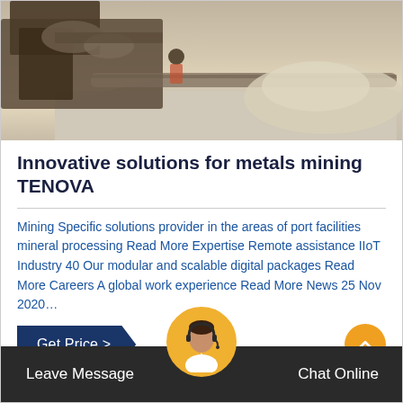[Figure (photo): Industrial mining machinery and conveyor equipment at a mining or construction site, showing workers and piles of aggregate/mineral material]
Innovative solutions for metals mining TENOVA
Mining Specific solutions provider in the areas of port facilities mineral processing Read More Expertise Remote assistance IIoT Industry 40 Our modular and scalable digital packages Read More Careers A global work experience Read More News 25 Nov 2020…
[Figure (other): Get Price > button with dark navy parallelogram shape and back-to-top orange circular button with chevron up arrow]
Leave Message   Chat Online